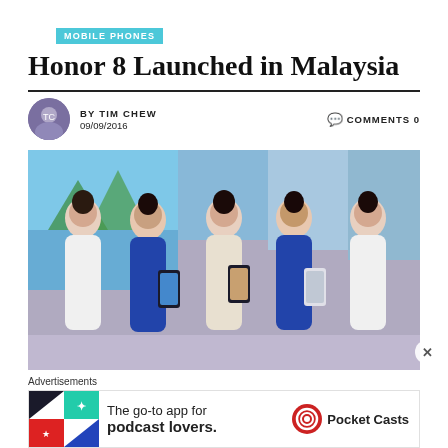MOBILE PHONES
Honor 8 Launched in Malaysia
BY TIM CHEW
09/09/2016
COMMENTS 0
[Figure (photo): Five women in white and blue dresses holding Honor 8 smartphones at a Malaysia product launch event]
Advertisements
[Figure (infographic): Pocket Casts advertisement: The go-to app for podcast lovers.]